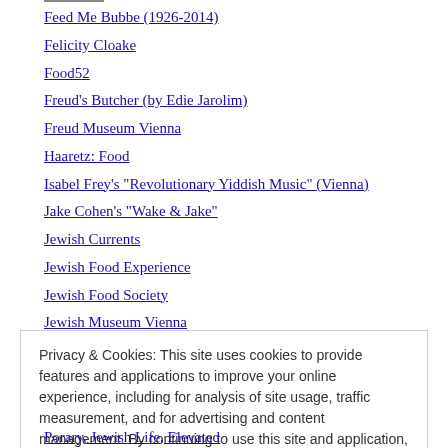Feed Me Bubbe (1926-2014)
Felicity Cloake
Food52
Freud's Butcher (by Edie Jarolim)
Freud Museum Vienna
Haaretz: Food
Isabel Frey's "Revolutionary Yiddish Music" (Vienna)
Jake Cohen's "Wake & Jake"
Jewish Currents
Jewish Food Experience
Jewish Food Society
Jewish Museum Vienna
Jewish Welcome Service Vienna
Joan Nathan
K. Jews, Europe, the XXIst century
Privacy & Cookies: This site uses cookies to provide features and applications to improve your online experience, including for analysis of site usage, traffic measurement, and for advertising and content management. By continuing to use this site and application, you agree to this use of cookies. Cookie Policy
Porary, Jewish Life, Elevated